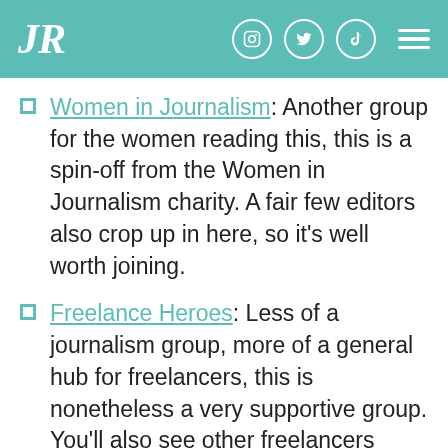JR
Women in Journalism: Another group for the women reading this, this is a spin-off from the Women in Journalism charity. A fair few editors also crop up in here, so it’s well worth joining.
Freelance Heroes: Less of a journalism group, more of a general hub for freelancers, this is nonetheless a very supportive group. You’ll also see other freelancers looking for people to help them with odd jobs too – we’ve spotted a bit of journalism adjacent stuff such as copywriting, blogs, PR, and